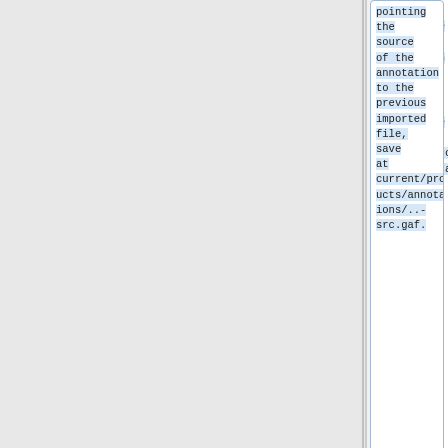pointing the source of the annotation to the previous imported file, save at current/products/annotations/..-src.gaf.
+
In some cases (all IEAs missing, all qualifiers missing,
+